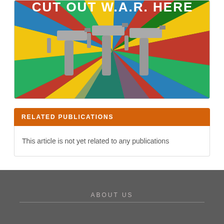[Figure (illustration): Colorful pop-art style illustration with sunburst rays in green, red, yellow, blue background; hands holding assault rifles aloft with text partially visible at top reading 'CUT OUT WAR HERE']
RELATED PUBLICATIONS
This article is not yet related to any publications
ABOUT US